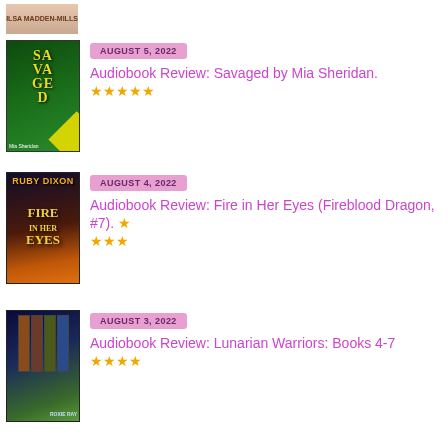[Figure (photo): Partial book cover by Ilsa Madden-Mills at top of page, cropped]
[Figure (photo): Book cover: Savaged by Mia Sheridan, green and black design with yellow audible banner]
AUGUST 5, 2022
Audiobook Review: Savaged by Mia Sheridan. ★★★★★
[Figure (photo): Book cover: Fire in Her Eyes by Ruby Dixon, Fireblood Dragon romance, dark cover with fire]
AUGUST 4, 2022
Audiobook Review: Fire in Her Eyes (Fireblood Dragon, #7). ★★★★
[Figure (photo): Book cover: Lunarian Warriors Books 4-7 by Roxie Ray, fantasy boxset]
AUGUST 3, 2022
Audiobook Review: Lunarian Warriors: Books 4-7 ★★★★